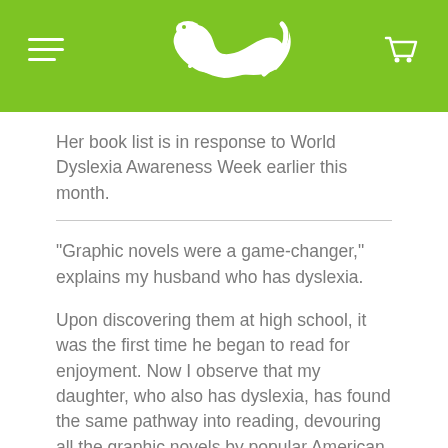[Figure (logo): Green header bar with a white gecko/lizard logo in the center, a hamburger menu icon on the left, and a shopping cart icon on the right]
Her book list is in response to World Dyslexia Awareness Week earlier this month.
“Graphic novels were a game-changer,” explains my husband who has dyslexia.
Upon discovering them at high school, it was the first time he began to read for enjoyment. Now I observe that my daughter, who also has dyslexia, has found the same pathway into reading, devouring all the graphic novels by popular American cartoonist Raina Telgeimeier.